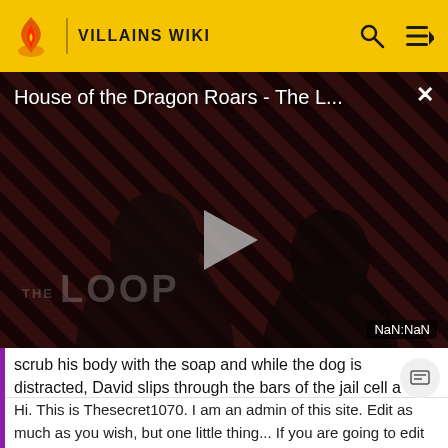VILLAINS WIKI
[Figure (screenshot): Video player showing 'House of the Dragon Roars - The L...' with play button, diagonal stripe background pattern in dark red/black, silhouette of two people, THE LOOP watermark, and NaN:NaN timestamp. Close (x) button in top right.]
scrub his body with the soap and while the dog is distracted, David slips through the bars of the jail cell a
Hi. This is Thesecret1070. I am an admin of this site. Edit as much as you wish, but one little thing... If you are going to edit a lot, then make yourself a user and login. Other than that, enjoy Villains Wiki!!!